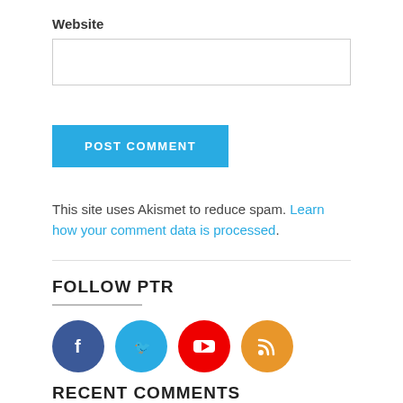Website
[Figure (other): Website input text field (empty)]
[Figure (other): POST COMMENT button, blue background, white uppercase text]
This site uses Akismet to reduce spam. Learn how your comment data is processed.
FOLLOW PTR
[Figure (other): Social media icons: Facebook (blue circle), Twitter (light blue circle), YouTube (red circle with play button), RSS (orange circle)]
RECENT COMMENTS